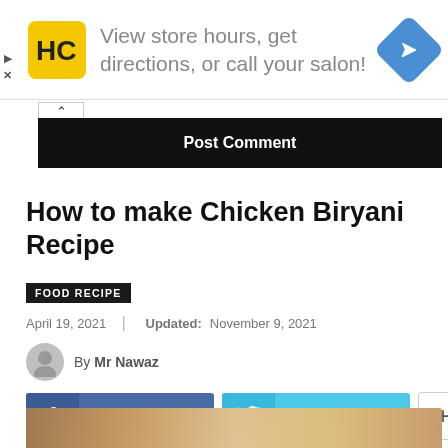[Figure (other): Advertisement banner: HC logo (yellow), text 'View store hours, get directions, or call your salon!', blue navigation diamond icon]
Post Comment
How to make Chicken Biryani Recipe
FOOD RECIPE
April 19, 2021 | Updated: November 9, 2021
By Mr Nawaz
Facebook   Twitter   +
[Figure (photo): Partial image of chicken biryani dish at bottom of page]